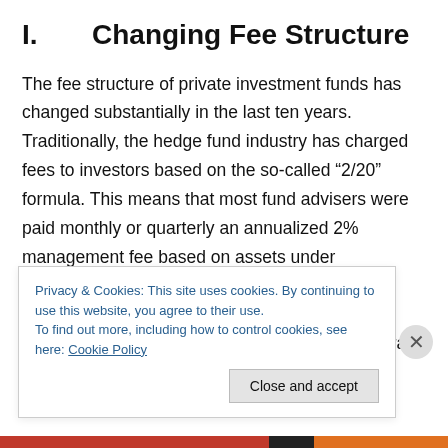I.    Changing Fee Structure
The fee structure of private investment funds has changed substantially in the last ten years. Traditionally, the hedge fund industry has charged fees to investors based on the so-called “2/20” formula. This means that most fund advisers were paid monthly or quarterly an annualized 2% management fee based on assets under management and a 20% annual performance or incentive reallocation based on net fund profits. Similarly managers of private equity funds generally used to charge an annualized 2%
Privacy & Cookies: This site uses cookies. By continuing to use this website, you agree to their use.
To find out more, including how to control cookies, see here: Cookie Policy